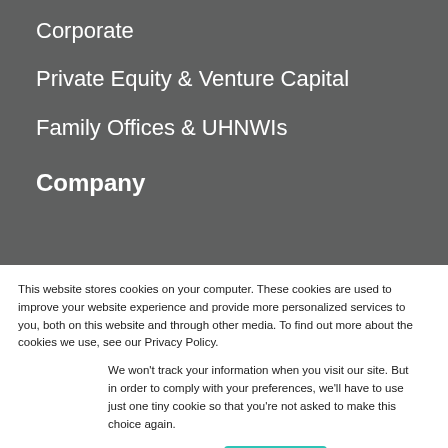Corporate
Private Equity & Venture Capital
Family Offices & UHNWIs
Company
This website stores cookies on your computer. These cookies are used to improve your website experience and provide more personalized services to you, both on this website and through other media. To find out more about the cookies we use, see our Privacy Policy.
We won't track your information when you visit our site. But in order to comply with your preferences, we'll have to use just one tiny cookie so that you're not asked to make this choice again.